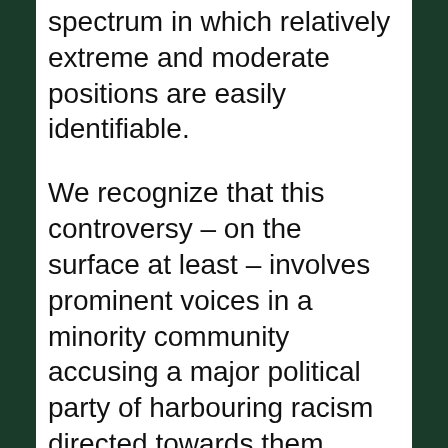spectrum in which relatively extreme and moderate positions are easily identifiable.
We recognize that this controversy – on the surface at least – involves prominent voices in a minority community accusing a major political party of harbouring racism directed towards them. What's more, these voices have been vocally supported by many high profile Labour MPs. In such circumstances we expect journalists to take these concerns seriously, view them as inherently newsworthy, and not necessarily afford equal time and attention to contesting views. It is also important to stress that journalists must be allowed – on